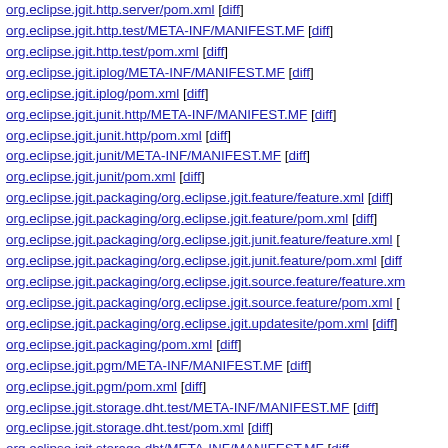org.eclipse.jgit.http.server/pom.xml [diff]
org.eclipse.jgit.http.test/META-INF/MANIFEST.MF [diff]
org.eclipse.jgit.http.test/pom.xml [diff]
org.eclipse.jgit.iplog/META-INF/MANIFEST.MF [diff]
org.eclipse.jgit.iplog/pom.xml [diff]
org.eclipse.jgit.junit.http/META-INF/MANIFEST.MF [diff]
org.eclipse.jgit.junit.http/pom.xml [diff]
org.eclipse.jgit.junit/META-INF/MANIFEST.MF [diff]
org.eclipse.jgit.junit/pom.xml [diff]
org.eclipse.jgit.packaging/org.eclipse.jgit.feature/feature.xml [diff]
org.eclipse.jgit.packaging/org.eclipse.jgit.feature/pom.xml [diff]
org.eclipse.jgit.packaging/org.eclipse.jgit.junit.feature/feature.xml [
org.eclipse.jgit.packaging/org.eclipse.jgit.junit.feature/pom.xml [diff
org.eclipse.jgit.packaging/org.eclipse.jgit.source.feature/feature.xm
org.eclipse.jgit.packaging/org.eclipse.jgit.source.feature/pom.xml [
org.eclipse.jgit.packaging/org.eclipse.jgit.updatesite/pom.xml [diff]
org.eclipse.jgit.packaging/pom.xml [diff]
org.eclipse.jgit.pgm/META-INF/MANIFEST.MF [diff]
org.eclipse.jgit.pgm/pom.xml [diff]
org.eclipse.jgit.storage.dht.test/META-INF/MANIFEST.MF [diff]
org.eclipse.jgit.storage.dht.test/pom.xml [diff]
org.eclipse.jgit.storage.dht/META-INF/MANIFEST.MF [diff]